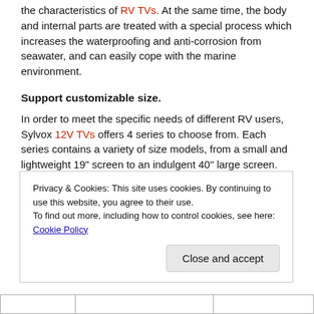the characteristics of RV TVs. At the same time, the body and internal parts are treated with a special process which increases the waterproofing and anti-corrosion from seawater, and can easily cope with the marine environment.
Support customizable size.
In order to meet the specific needs of different RV users, Sylvox 12V TVs offers 4 series to choose from. Each series contains a variety of size models, from a small and lightweight 19″ screen to an indulgent 40″ large screen. There are up to 6 sizes; each series can also choose whether to carry a DVD function according to the size.
| Series | Size | Size with DVD |
| --- | --- | --- |
Privacy & Cookies: This site uses cookies. By continuing to use this website, you agree to their use.
To find out more, including how to control cookies, see here: Cookie Policy
Close and accept